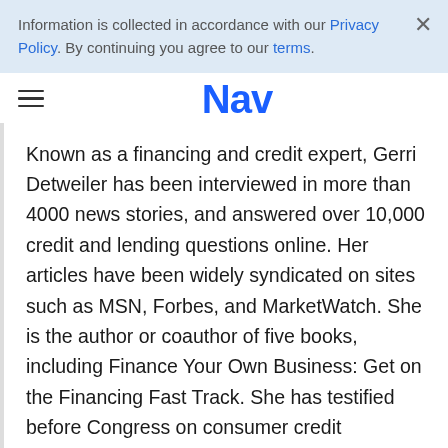Information is collected in accordance with our Privacy Policy. By continuing you agree to our terms.
Nav
Known as a financing and credit expert, Gerri Detweiler has been interviewed in more than 4000 news stories, and answered over 10,000 credit and lending questions online. Her articles have been widely syndicated on sites such as MSN, Forbes, and MarketWatch. She is the author or coauthor of five books, including Finance Your Own Business: Get on the Financing Fast Track. She has testified before Congress on consumer credit legislation.